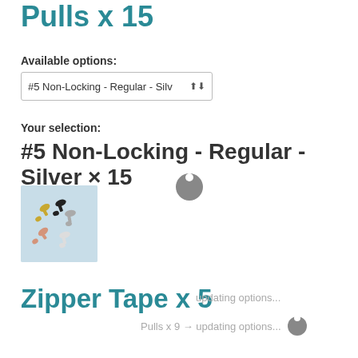Pulls x 15
Available options:
#5 Non-Locking - Regular - Silv
Your selection:
#5 Non-Locking - Regular - Silver × 15
[Figure (photo): Product photo of zipper pulls in multiple colors (gold, black, silver, rose gold)]
Zipper Tape x 5
updating options...
Pulls x 9 → updating options...